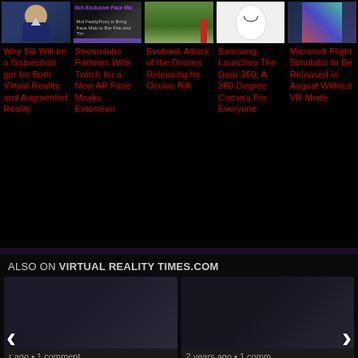[Figure (screenshot): Article thumbnail images strip showing 5 article preview images in a row]
Why 5G Will be a Gamechanger for Both Virtual Reality and Augmented Reality
Streamlabs Partners With Twitch for a New AR Face Masks Extension
Evolved: Attack of the Drones Releasing for Oculus Rift
Samsung Launches The Gear 360, A 360-Degree Camera For Everyone
Microsoft Flight Simulator to Be Released in August Without VR Mode
ALSO ON VIRTUAL REALITY TIMES.COM
[Figure (screenshot): Two article preview cards side by side with dark thumbnail images, showing comment counts and article titles partially visible]
r ago • 1 comment
2 years ago • 1 comm
ry Out the First
Top Valve Ingox